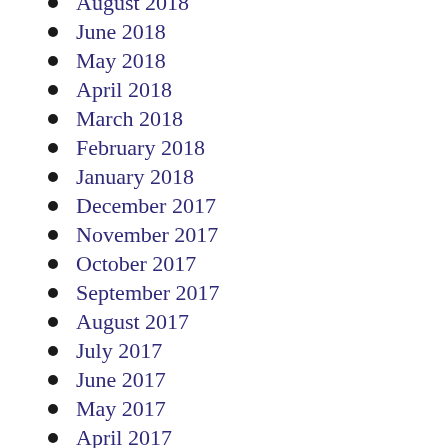August 2018
June 2018
May 2018
April 2018
March 2018
February 2018
January 2018
December 2017
November 2017
October 2017
September 2017
August 2017
July 2017
June 2017
May 2017
April 2017
March 2017